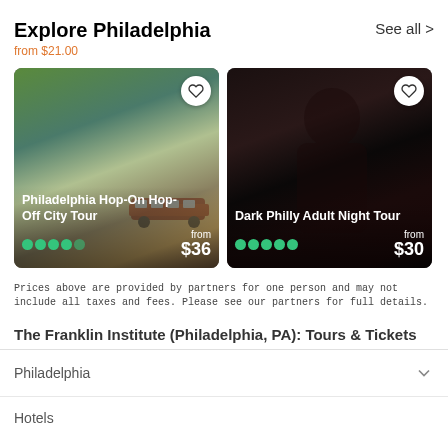Explore Philadelphia
from $21.00
See all >
[Figure (photo): Philadelphia cityscape with park and statue, hop-on hop-off bus visible. Card titled: Philadelphia Hop-On Hop-Off City Tour. Rating: 4.5 stars. Price: from $36]
[Figure (photo): Dark moody photo of a woman with dark makeup for a ghost/horror tour. Card titled: Dark Philly Adult Night Tour. Rating: 5 stars. Price: from $30]
Prices above are provided by partners for one person and may not include all taxes and fees. Please see our partners for full details.
The Franklin Institute (Philadelphia, PA): Tours & Tickets
Philadelphia
Hotels